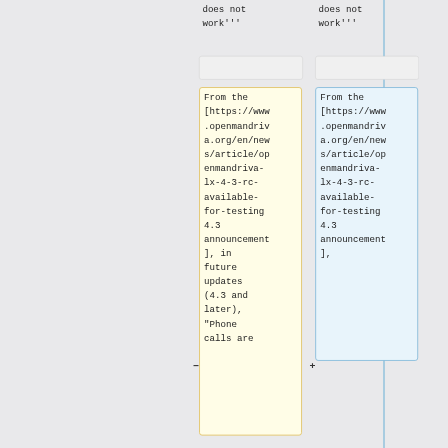does not work'''
does not work'''
From the [https://www.openmandriva.org/en/news/article/openmandriva-lx-4-3-rc-available-for-testing 4.3 announcement], in future updates (4.3 and later), "Phone calls are
From the [https://www.openmandriva.org/en/news/article/openmandriva-lx-4-3-rc-available-for-testing 4.3 announcement],